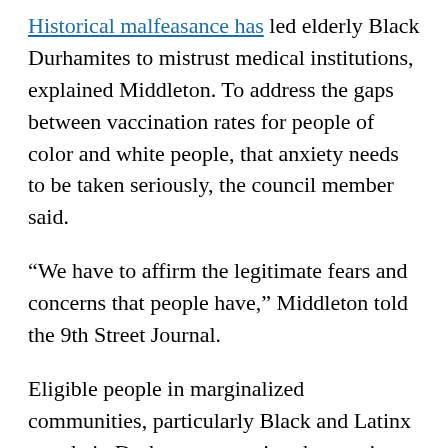Historical malfeasance has led elderly Black Durhamites to mistrust medical institutions, explained Middleton. To address the gaps between vaccination rates for people of color and white people, that anxiety needs to be taken seriously, the council member said.
“We have to affirm the legitimate fears and concerns that people have,” Middleton told the 9th Street Journal.
Eligible people in marginalized communities, particularly Black and Latinx people in Durham, are getting the vaccine at a much lower rate than white folks. As of March 3, 19.5% of Durham County’s white population has received the first dose of the vaccine, according to data made public by the North Carolina Department of Health and Human Services. That’s almost double the rate for Black Durhamites: 11.3% of Black or African-American people have gotten their